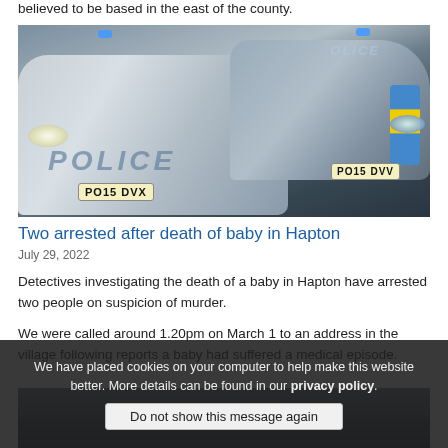believed to be based in the east of the county.
[Figure (photo): Two police cars (Ford Focus estate) with blue lights and POLICE markings. Registration plates PO15 DVX and PO15 DVV visible. One officer in hi-vis vest visible between cars.]
Two arrested after death of baby in Hapton
July 29, 2022
Detectives investigating the death of a baby in Hapton have arrested two people on suspicion of murder.
We were called around 1.20pm on March 1 to an address in the village following reports a baby had suffered a medical episode.
We have placed cookies on your computer to help make this website better. More details can be found in our privacy policy.
Do not show this message again